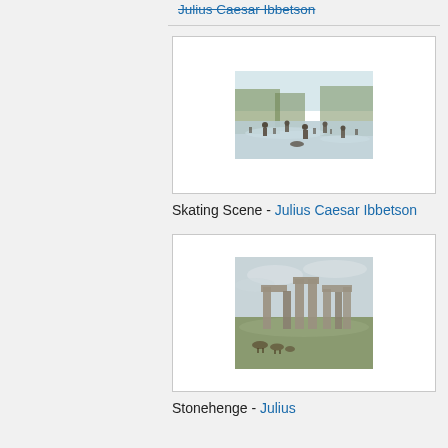Julius Caesar Ibbetson
[Figure (illustration): Skating Scene painting by Julius Caesar Ibbetson — a watercolor showing people skating on a frozen body of water with trees in the background]
Skating Scene - Julius Caesar Ibbetson
[Figure (illustration): Stonehenge painting by Julius Caesar Ibbetson — a watercolor sketch showing Stonehenge with figures and animals in the foreground under a cloudy sky]
Stonehenge - Julius Caesar Ibbetson